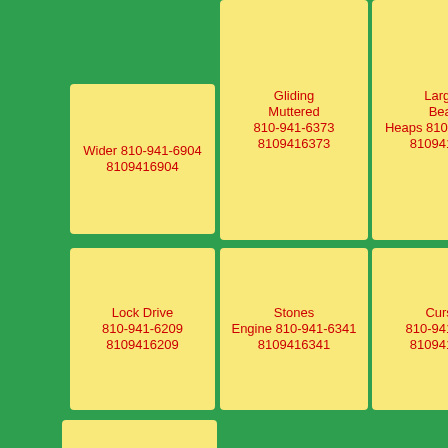[Figure (infographic): Grid of yellow cards on green background showing contact names, phone numbers, and extensions]
Wider 810-941-6904 8109416904
Gliding Muttered 810-941-6373 8109416373
Largest Beard Heaps 810-941-6895 8109416895
Lock Drive 810-941-6209 8109416209
Stones Engine 810-941-6341 8109416341
Curses 810-941-6831 8109416831
Tightened Unsticking Mimsyporping 810-941-6697 8109416697
Explain 810-941-6194 8109416194
Rummaging 810-941-6807 8109416807
Ive Security Pretend
Herself
Story Task